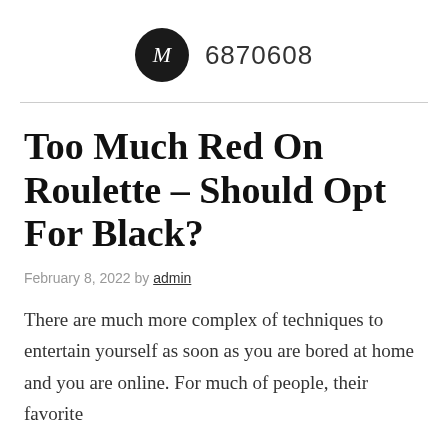M 6870608
Too Much Red On Roulette – Should Opt For Black?
February 8, 2022 by admin
There are much more complex of techniques to entertain yourself as soon as you are bored at home and you are online. For much of people, their favorite